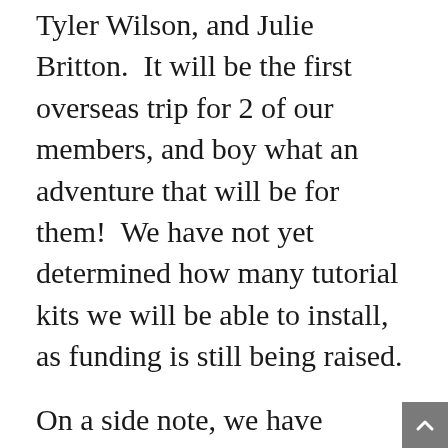Tyler Wilson, and Julie Britton.  It will be the first overseas trip for 2 of our members, and boy what an adventure that will be for them!  We have not yet determined how many tutorial kits we will be able to install, as funding is still being raised.
On a side note, we have received a lot of interest from a few countries in Africa, who believe a Missing Link kit can do great good in their communities.  Unfortunately, we have not been able to fund full kits, but we have sent as many